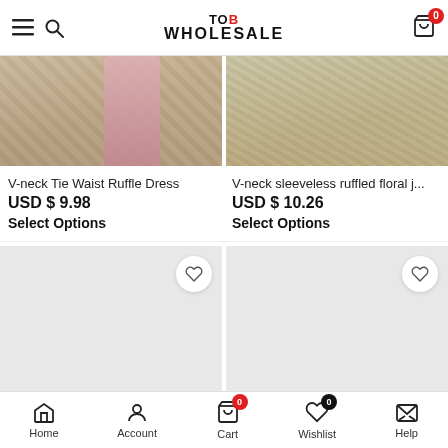TOB WHOLESALE — navigation header with hamburger, search, logo, and cart (0 items)
[Figure (photo): Partial product image: V-neck Tie Waist Ruffle Dress — cropped photo showing white lace shorts and a pink floral fabric on sandy background]
[Figure (photo): Partial product image: V-neck sleeveless ruffled floral jumper — cropped photo showing floral print shorts on person]
V-neck Tie Waist Ruffle Dress
USD $ 9.98
Select Options
V-neck sleeveless ruffled floral j...
USD $ 10.26
Select Options
[Figure (photo): Product placeholder loading card with TOB WHOLESALE watermark, wishlist heart button, scroll-up arrow button]
[Figure (photo): Product placeholder loading card with TOB WHOLESALE watermark, wishlist heart button, chat bubble button]
Bottom navigation: Home, Account, Cart (0), Wishlist (0), Help